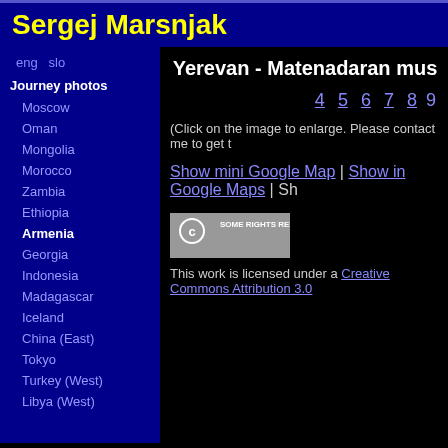Sergej Marsnjak
eng   slo
Journey photos
Moscow
Oman
Mongolia
Morocco
Zambia
Ethiopia
Armenia
Georgia
Indonesia
Madagascar
Iceland
China (East)
Tokyo
Turkey (West)
Libya (West)
Yerevan - Matenadaran mus
4  5  6  7  8  9
(Click on the image to enlarge. Please contact me to get t
Show mini Google Map | Show in Google Maps | Sh
[Figure (logo): Creative Commons Some Rights Reserved badge]
This work is licensed under a Creative Commons Attribution 3.0